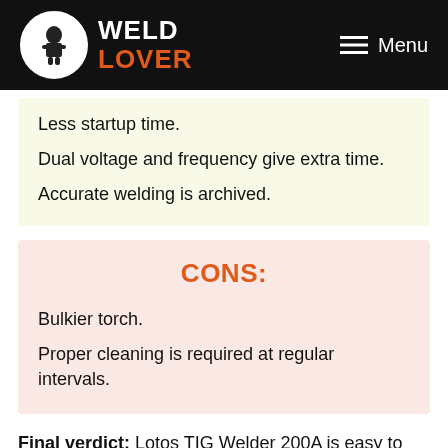WELD LOVER — Menu
Less startup time.
Dual voltage and frequency give extra time.
Accurate welding is archived.
CONS:
Bulkier torch.
Proper cleaning is required at regular intervals.
Final verdict: Lotos TIG Welder 200A is easy to operate along with excellent durability. Dual